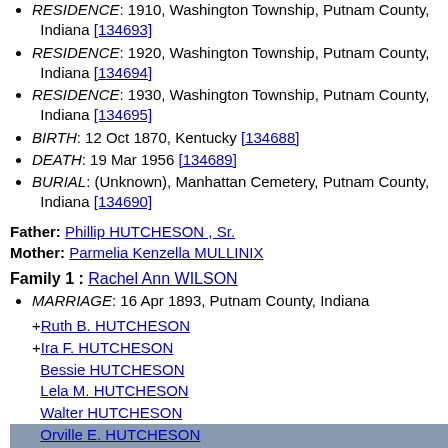RESIDENCE: 1910, Washington Township, Putnam County, Indiana [134693]
RESIDENCE: 1920, Washington Township, Putnam County, Indiana [134694]
RESIDENCE: 1930, Washington Township, Putnam County, Indiana [134695]
BIRTH: 12 Oct 1870, Kentucky [134688]
DEATH: 19 Mar 1956 [134689]
BURIAL: (Unknown), Manhattan Cemetery, Putnam County, Indiana [134690]
Father: Phillip HUTCHESON , Sr.
Mother: Parmelia Kenzella MULLINIX
Family 1 : Rachel Ann WILSON
MARRIAGE: 16 Apr 1893, Putnam County, Indiana
1. +Ruth B. HUTCHESON
2. +Ira F. HUTCHESON
3. Bessie HUTCHESON
4. Lela M. HUTCHESON
5. Walter HUTCHESON
6. Orville E. HUTCHESON
7. Phillip HUTCHESON
8. Leland HUTCHESON